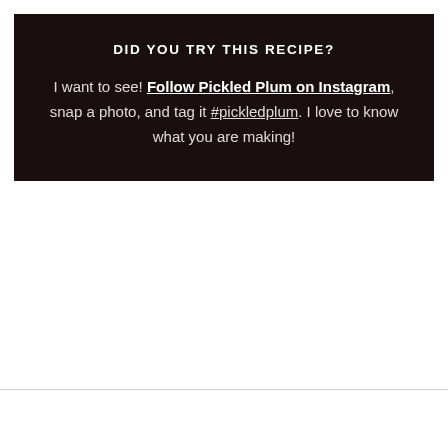DID YOU TRY THIS RECIPE?
I want to see! Follow Pickled Plum on Instagram, snap a photo, and tag it #pickledplum. I love to know what you are making!